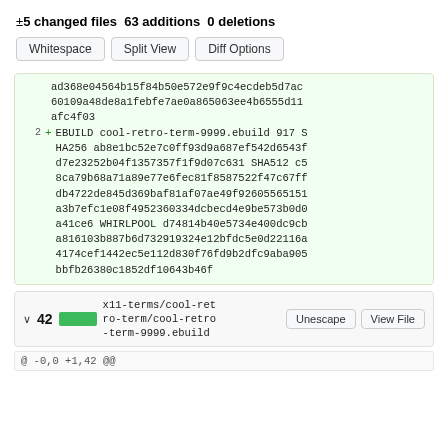± 5 changed files 63 additions 0 deletions
Whitespace  Split View  Diff Options
ad368e04564b15f84b50e572e9f9c4ecdeb5d7ac
60109a48de8a1febfe7ae0a865063ee4b6555d11
afc4f03
2  +  EBUILD cool-retro-term-9999.ebuild 917 SHA256 ab8e1bc52e7c0ff93d9a687ef542d6543fd7e23252b04f1357357f1f9d07c631 SHA512 c58ca79b68a71a89e77e6fec81f8587522f47c67ffdb4722de845d369baf81af07ae49f92605565151a3b7efc1e08f4952360334dcbecd4e9be573b0d0a41ce6 WHIRLPOOL d74814b40e5734e400dc9cba816103b887b6d732919324e12bfdc5e0d22116a4174cef1442ec5e112d830f76fd9b2dfc9aba905bbfb26380c1852df10643b46f
∨ 42  x11-terms/cool-retro-term/cool-retro-term-9999.ebuild  Unescape  View File
@ -0,0 +1,42 @@